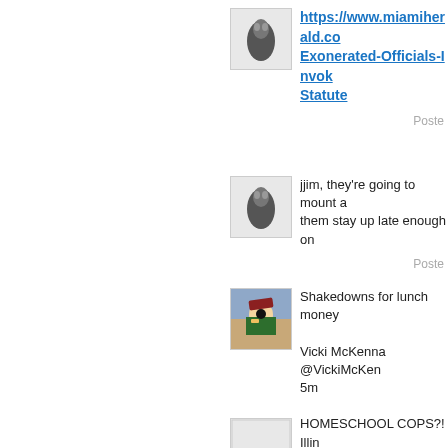[Figure (photo): User avatar - dark abstract shape on light background]
https://www.miamiherald.co... Exonerated-Officials-Invok... Statute
Posted...
[Figure (photo): User avatar - dark abstract shape on light background]
jjim, they're going to mount a... them stay up late enough on...
Posted...
[Figure (photo): User avatar - person in military-style outfit with sunglasses]
Shakedowns for lunch money...
Vicki McKenna @VickiMcKen... 5m
HOMESCHOOL COPS?! Illin... Government Agents into Eve... The Families. WOW.
https://t.co/GWkmjgtHiq